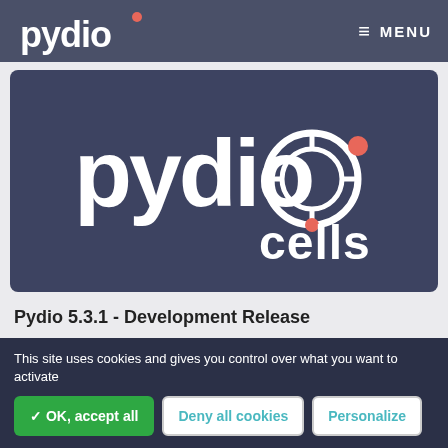[Figure (logo): Pydio logo in white text on dark blue-grey navigation bar, with small red dot superscript]
≡ MENU
[Figure (logo): Pydio Cells logo — white text 'pydio' with circular target/gear icon and red accent dots, word 'cells' below right, on dark blue-grey card background]
Pydio 5.3.1 - Development Release
Created on 2014/06/22
Pydio 5.3.1 This release is a development release: it is
This site uses cookies and gives you control over what you want to activate
✓ OK, accept all
Deny all cookies
Personalize